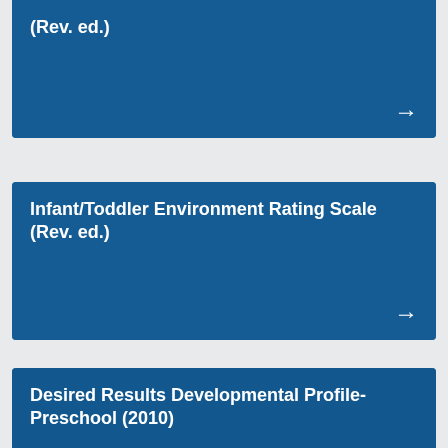[Figure (other): Blue card with text partially visible at top: (Rev. ed.) with right arrow, showing partial content of a rating scale]
[Figure (other): Blue card: Infant/Toddler Environment Rating Scale (Rev. ed.) with right arrow]
[Figure (other): Blue card: Desired Results Developmental Profile-Preschool (2010) with right arrow]
[Figure (other): Blue card partially visible at bottom: Desired Results Developmental Profile-Infant/Toddler (2010)]